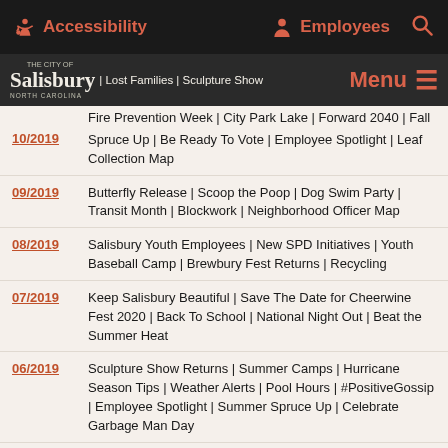Accessibility | Employees
The City of Salisbury | Menu
| Lost Families | Sculpture Show
10/2019 - Fire Prevention Week | City Park Lake | Forward 2040 | Fall Spruce Up | Be Ready To Vote | Employee Spotlight | Leaf Collection Map
09/2019 - Butterfly Release | Scoop the Poop | Dog Swim Party | Transit Month | Blockwork | Neighborhood Officer Map
08/2019 - Salisbury Youth Employees | New SPD Initiatives | Youth Baseball Camp | Brewbury Fest Returns | Recycling
07/2019 - Keep Salisbury Beautiful | Save The Date for Cheerwine Fest 2020 | Back To School | National Night Out | Beat the Summer Heat
06/2019 - Sculpture Show Returns | Summer Camps | Hurricane Season Tips | Weather Alerts | Pool Hours | #PositiveGossip | Employee Spotlight | Summer Spruce Up | Celebrate Garbage Man Day
05/2019 - Look Behind the Scenes | Cheerwine Festival | BlockWork Accepting Applications | #FeelingCuteChallenge | Watch Your Water Usage with EyeOnWater
04/2019 - Festival Music Lineup | Locals Receive EDK Awards | Business with the City | SPD Foot Pursuit 5K | City Nature Challenge
03/2019 - Celebrate Spring At Hurley Park | Runner-Friendly Community | Cheerwine Festival Volunteers | Employee Spotlight | SPD Ride-